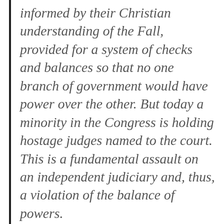informed by their Christian understanding of the Fall, provided for a system of checks and balances so that no one branch of government would have power over the other. But today a minority in the Congress is holding hostage judges named to the court. This is a fundamental assault on an independent judiciary and, thus, a violation of the balance of powers.
Below is the material taken from the DuPont op-ed.
Sen. Barbara Boxer is a longtime opponent of judicial nomination